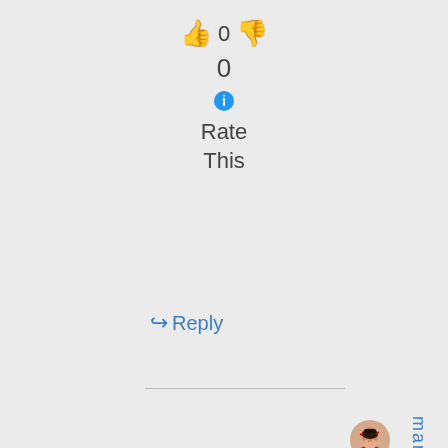[Figure (infographic): Thumbs up emoji, number 0, thumbs down emoji rating widget]
0
[Figure (infographic): Blue info circle icon]
Rate This
↪ Reply
[Figure (photo): Small circular avatar photo of a woman]
mariinakan